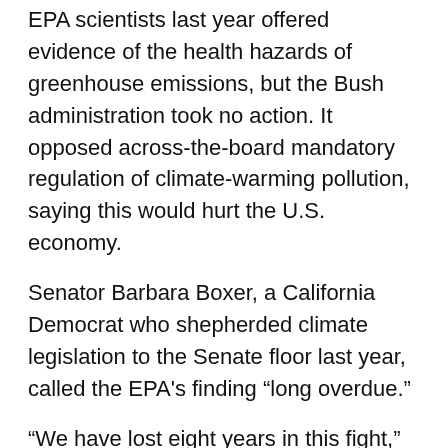EPA scientists last year offered evidence of the health hazards of greenhouse emissions, but the Bush administration took no action. It opposed across-the-board mandatory regulation of climate-warming pollution, saying this would hurt the U.S. economy.
Senator Barbara Boxer, a California Democrat who shepherded climate legislation to the Senate floor last year, called the EPA's finding “long overdue.”
“We have lost eight years in this fight,” Boxer said in a statement. “… The best and most flexible way to deal with this serious problem is to enact a market-based cap-and-trade system which will help us make the transition to clean energy and will bring us innovation and strong economic growth.”
“At long last, EPA is officially recognizing that carbon